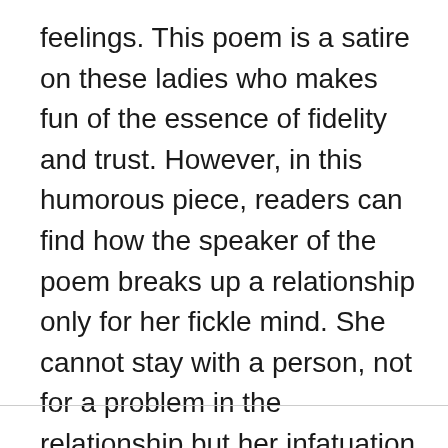feelings. This poem is a satire on these ladies who makes fun of the essence of fidelity and trust. However, in this humorous piece, readers can find how the speaker of the poem breaks up a relationship only for her fickle mind. She cannot stay with a person, not for a problem in the relationship but her infatuation with a different person.